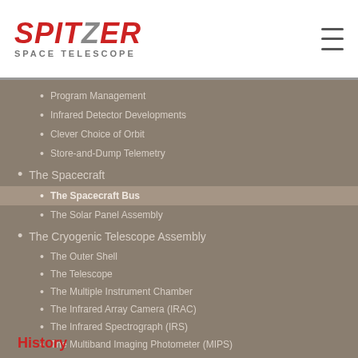Spitzer Space Telescope
Program Management
Infrared Detector Developments
Clever Choice of Orbit
Store-and-Dump Telemetry
The Spacecraft
The Spacecraft Bus
The Solar Panel Assembly
The Cryogenic Telescope Assembly
The Outer Shell
The Telescope
The Multiple Instrument Chamber
The Infrared Array Camera (IRAC)
The Infrared Spectrograph (IRS)
The Multiband Imaging Photometer (MIPS)
The Cryostat
History